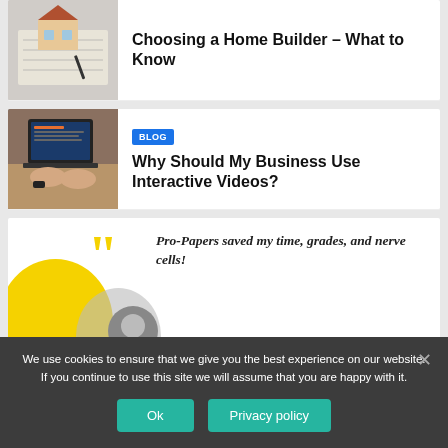Choosing a Home Builder – What to Know
[Figure (photo): Aerial view of house model with blueprints and pen on desk]
Why Should My Business Use Interactive Videos?
[Figure (photo): Person typing on laptop on wooden desk with watch and phone]
BLOG
Pro-Papers saved my time, grades, and nerve cells!
[Figure (photo): Decorative quote section with yellow and gray background shapes and person avatar]
We use cookies to ensure that we give you the best experience on our website. If you continue to use this site we will assume that you are happy with it.